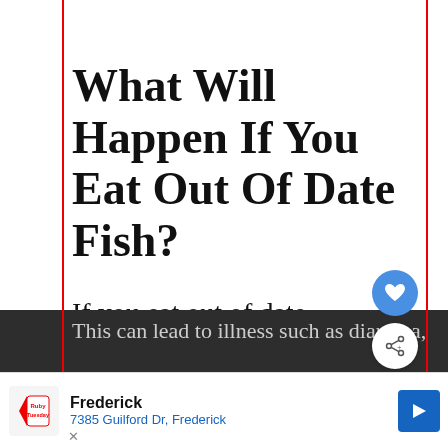w°
What Will Happen If You Eat Out Of Date Fish?
If you eat out of date seafood, you run
the risk of consuming harmful b...
WHAT'S NEXT → Can You Eat Canned...
This can lead to illness such as diarrhea,
Frederick 7385 Guilford Dr, Frederick